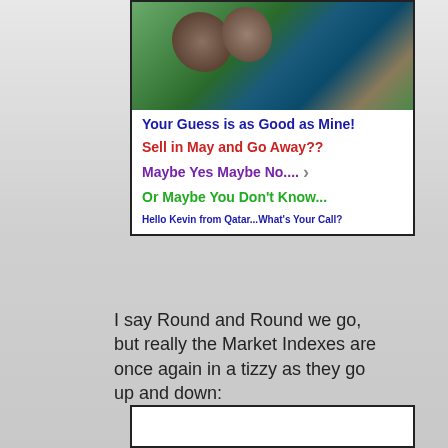[Figure (illustration): A card/banner image showing an aerial or nature photo with two animal figures visible, overlaid with colorful text lines about market prediction. Lines read: 'Your Guess is as Good as Mine!', 'Sell in May and Go Away??', 'Maybe Yes Maybe No....', 'Or Maybe You Don't Know...', 'Hello Kevin from Qatar...What's Your Call?']
I say Round and Round we go, but really the Market Indexes are once again in a tizzy as they go up and down:
[Figure (screenshot): Bottom of a second card/image partially visible at the bottom of the page]